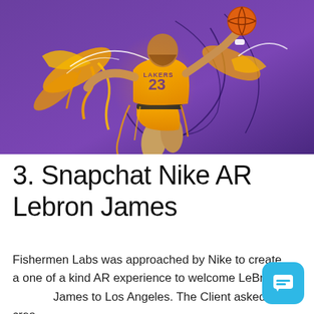[Figure (illustration): Digital illustration of LeBron James in a Los Angeles Lakers yellow jersey number 23, dunking a basketball, with swirling golden paint splashes and abstract purple background.]
3. Snapchat Nike AR Lebron James
Fishermen Labs was approached by Nike to create a one of a kind AR experience to welcome LeBron James to Los Angeles. The Client asked to crea...